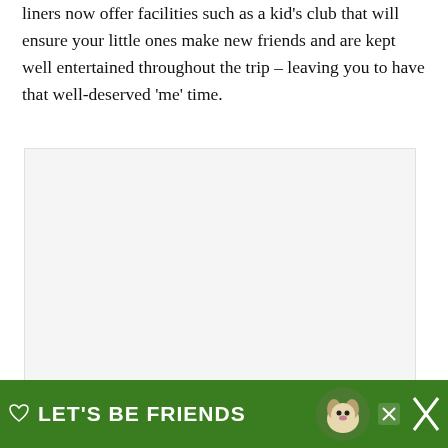liners now offer facilities such as a kid's club that will ensure your little ones make new friends and are kept well entertained throughout the trip – leaving you to have that well-deserved 'me' time.
[Figure (photo): Large image placeholder area with light gray background, showing three navigation dots at center bottom. Contains floating UI elements: a heart/favorite button (pink circle), a share button (white circle with share icon), and a 'What's Next' card showing a cruise ship thumbnail with text 'Make the most of a cruise trip'.]
[Figure (screenshot): Advertisement banner at the bottom: dark background with green section on right, white text 'LET'S BE FRIENDS' in large bold letters, heart icon on left, husky dog image in center-right, close X button, and a brand logo on far right.]